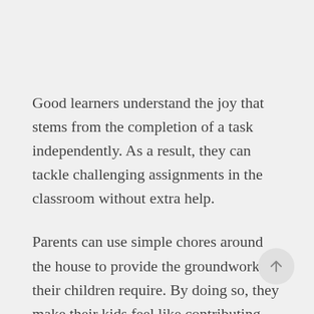Good learners understand the joy that stems from the completion of a task independently. As a result, they can tackle challenging assignments in the classroom without extra help.
Parents can use simple chores around the house to provide the groundwork their children require. By doing so, they make their kids feel like contributing members of the family